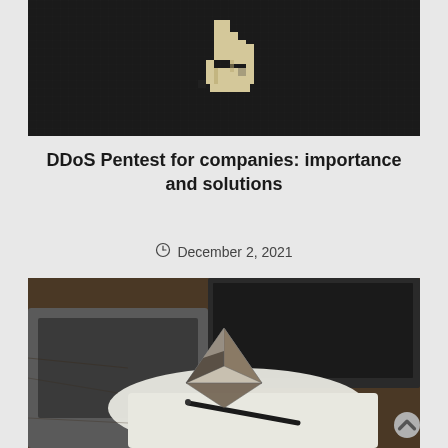[Figure (photo): Dark screen with a pixel-art pointing hand cursor icon on a dark background]
DDoS Pentest for companies: importance and solutions
December 2, 2021
[Figure (photo): Ethereum logo crystal pyramid sculpture on a white tablet/notepad with a pen, next to a laptop, on a wooden surface]